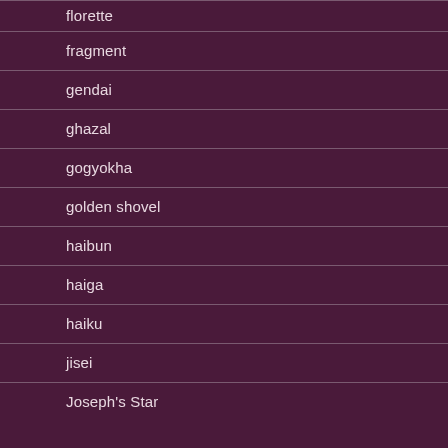florette
fragment
gendai
ghazal
gogyokha
golden shovel
haibun
haiga
haiku
jisei
Joseph's Star